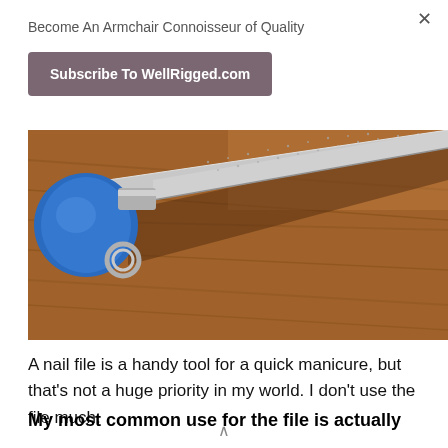Become An Armchair Connoisseur of Quality
Subscribe To WellRigged.com
[Figure (photo): Close-up photo of a diamond nail file with a blue handle and metal keyring attachment, lying on a wooden surface.]
A nail file is a handy tool for a quick manicure, but that's not a huge priority in my world. I don't use the file much.
My most common use for the file is actually